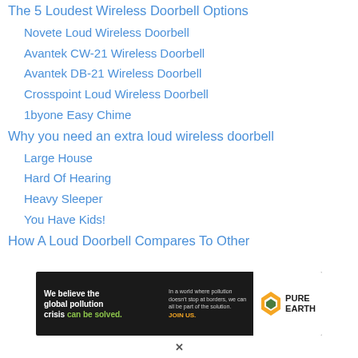The 5 Loudest Wireless Doorbell Options
Novete Loud Wireless Doorbell
Avantek CW-21 Wireless Doorbell
Avantek DB-21 Wireless Doorbell
Crosspoint Loud Wireless Doorbell
1byone Easy Chime
Why you need an extra loud wireless doorbell
Large House
Hard Of Hearing
Heavy Sleeper
You Have Kids!
How A Loud Doorbell Compares To Other
[Figure (infographic): Pure Earth advertisement banner: 'We believe the global pollution crisis can be solved.' with green text highlight, and Pure Earth logo on the right with diamond/leaf icon.]